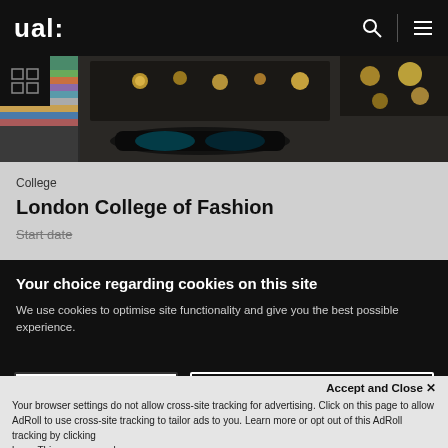ual:
[Figure (photo): Dark photograph of jewelry and accessories on a dark surface, seen from above]
College
London College of Fashion
Start date
Your choice regarding cookies on this site
We use cookies to optimise site functionality and give you the best possible experience.
I Accept Cookies
I Do Not Accept Cookies
Accept and Close ✕
Your browser settings do not allow cross-site tracking for advertising. Click on this page to allow AdRoll to use cross-site tracking to tailor ads to you. Learn more or opt out of this AdRoll tracking by clicking here. This message only appears once.